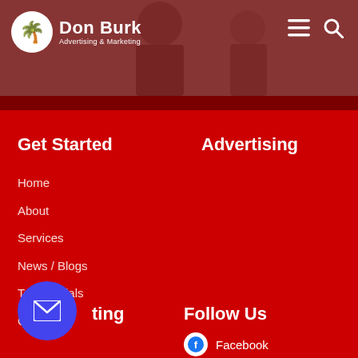[Figure (screenshot): Don Burk Advertising & Marketing website header with logo and navigation icons over a photo of business people]
Get Started
Home
About
Services
News / Blogs
Testimonials
Contact
Advertising
Marketing
Follow Us
Facebook
Twitter